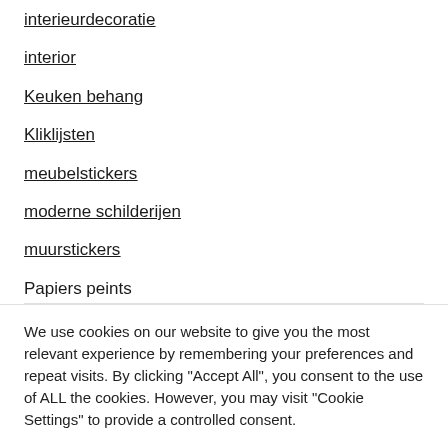interieurdecoratie
interior
Keuken behang
Kliklijsten
meubelstickers
moderne schilderijen
muurstickers
Papiers peints
We use cookies on our website to give you the most relevant experience by remembering your preferences and repeat visits. By clicking “Accept All”, you consent to the use of ALL the cookies. However, you may visit "Cookie Settings" to provide a controlled consent.
Cookie Settings | Accept All